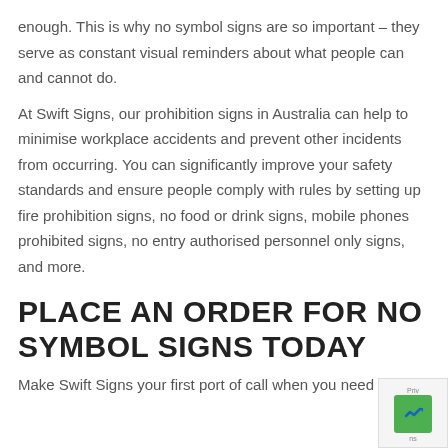enough. This is why no symbol signs are so important – they serve as constant visual reminders about what people can and cannot do.
At Swift Signs, our prohibition signs in Australia can help to minimise workplace accidents and prevent other incidents from occurring. You can significantly improve your safety standards and ensure people comply with rules by setting up fire prohibition signs, no food or drink signs, mobile phones prohibited signs, no entry authorised personnel only signs, and more.
PLACE AN ORDER FOR NO SYMBOL SIGNS TODAY
Make Swift Signs your first port of call when you need